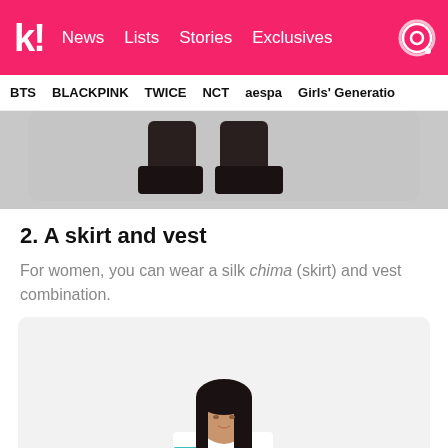k! News  Lists  Stories  Exclusives
BTS  BLACKPINK  TWICE  NCT  aespa  Girls' Generation
[Figure (photo): Cropped photo showing legs/shoes of a person against a grey background]
2. A skirt and vest
For women, you can wear a silk chima (skirt) and vest combination.
[Figure (photo): Photo of a young East Asian woman with dark hair wearing a white and teal outfit, against a light grey background]